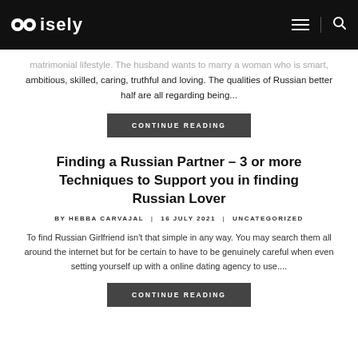wisely
matrimonial lifestyle. The husband wants to marry a woman who is smart, ambitious, skilled, caring, truthful and loving. The qualities of Russian better half are all regarding being...
CONTINUE READING
Finding a Russian Partner – 3 or more Techniques to Support you in finding Russian Lover
BY HEBBA CARVAJAL | 16 JULY 2021 | UNCATEGORIZED
To find Russian Girlfriend isn't that simple in any way. You may search them all around the internet but for be certain to have to be genuinely careful when even setting yourself up with a online dating agency to use....
CONTINUE READING